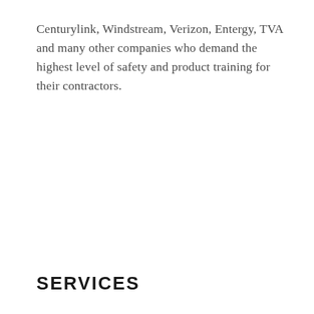Centurylink, Windstream, Verizon, Entergy, TVA and many other companies who demand the highest level of safety and product training for their contractors.
SERVICES